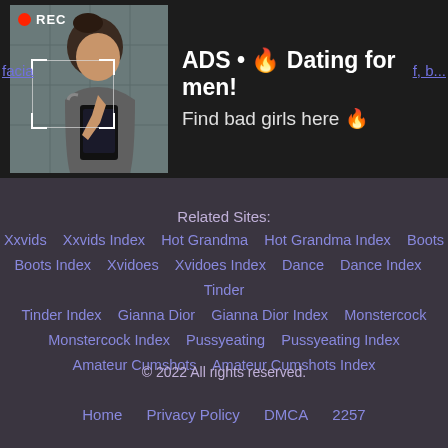[Figure (photo): Advertisement banner with a woman taking a selfie in a mirror, REC indicator in top left, focus box overlay. Dark background. Text reads: ADS • Dating for men! Find bad girls here]
facia...   f, b...
Related Sites:
Xxvids   Xxvids Index   Hot Grandma   Hot Grandma Index   Boots   Boots Index   Xvidoes   Xvidoes Index   Dance   Dance Index   Tinder   Tinder Index   Gianna Dior   Gianna Dior Index   Monstercock   Monstercock Index   Pussyeating   Pussyeating Index   Amateur Cumshots   Amateur Cumshots Index
© 2022 All rights reserved.
Home   Privacy Policy   DMCA   2257